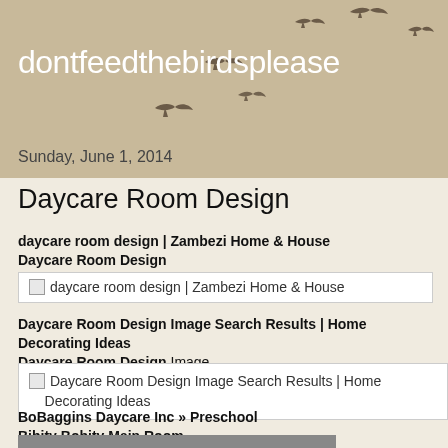dontfeedthebirdsplease
Sunday, June 1, 2014
Daycare Room Design
daycare room design | Zambezi Home & House Daycare Room Design
[Figure (screenshot): Broken image placeholder: daycare room design | Zambezi Home & House]
Daycare Room Design Image Search Results | Home Decorating Ideas Daycare Room Design Image
[Figure (screenshot): Broken image placeholder: Daycare Room Design Image Search Results | Home Decorating Ideas]
BoBaggins Daycare Inc » Preschool Bibity Bobity Main Room
[Figure (photo): Partial image visible at bottom of page]